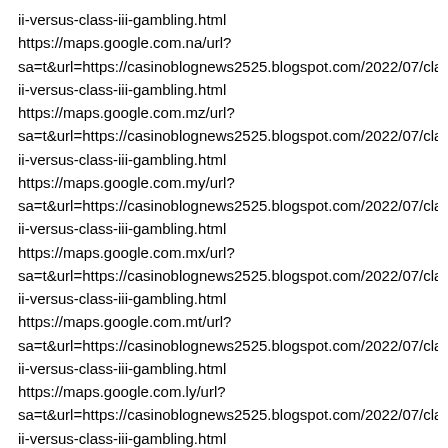ii-versus-class-iii-gambling.html
https://maps.google.com.na/url?
sa=t&url=https://casinoblognews2525.blogspot.com/2022/07/clas
ii-versus-class-iii-gambling.html
https://maps.google.com.mz/url?
sa=t&url=https://casinoblognews2525.blogspot.com/2022/07/clas
ii-versus-class-iii-gambling.html
https://maps.google.com.my/url?
sa=t&url=https://casinoblognews2525.blogspot.com/2022/07/clas
ii-versus-class-iii-gambling.html
https://maps.google.com.mx/url?
sa=t&url=https://casinoblognews2525.blogspot.com/2022/07/clas
ii-versus-class-iii-gambling.html
https://maps.google.com.mt/url?
sa=t&url=https://casinoblognews2525.blogspot.com/2022/07/clas
ii-versus-class-iii-gambling.html
https://maps.google.com.ly/url?
sa=t&url=https://casinoblognews2525.blogspot.com/2022/07/clas
ii-versus-class-iii-gambling.html
https://maps.google.com.lb/url?
sa=t&url=https://casinoblognews2525.blogspot.com/2022/07/clas